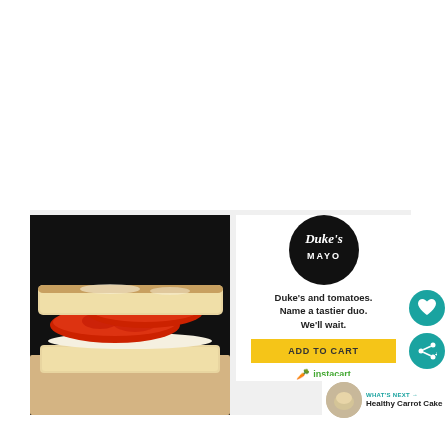[Figure (photo): A tomato sandwich on white bread with Duke's mayonnaise, photographed against a dark background]
[Figure (logo): Duke's Mayo logo — white script text on black circle with 'MAYO' in caps below]
Duke's and tomatoes. Name a tastier duo. We'll wait.
ADD TO CART
[Figure (logo): Instacart logo with carrot icon]
WHAT'S NEXT → Healthy Carrot Cake